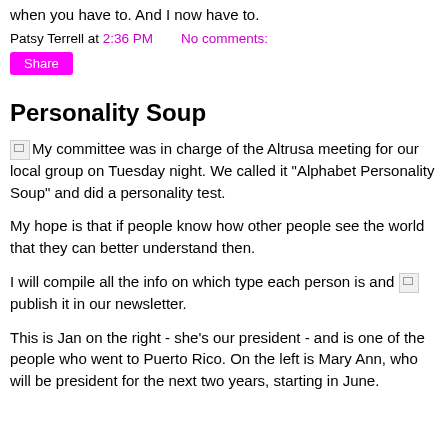when you have to. And I now have to.
Patsy Terrell at 2:36 PM   No comments:
Share
Personality Soup
My committee was in charge of the Altrusa meeting for our local group on Tuesday night. We called it "Alphabet Personality Soup" and did a personality test.
My hope is that if people know how other people see the world that they can better understand then.
I will compile all the info on which type each person is and publish it in our newsletter.
This is Jan on the right - she's our president - and is one of the people who went to Puerto Rico. On the left is Mary Ann, who will be president for the next two years, starting in June.